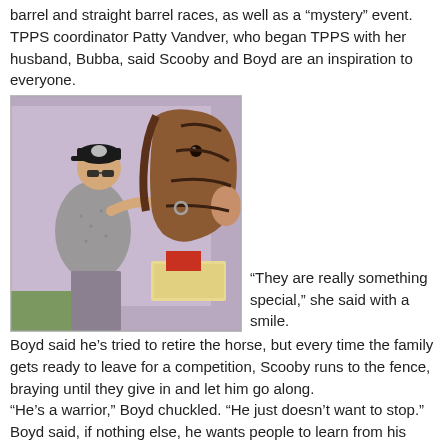barrel and straight barrel races, as well as a “mystery” event. TPPS coordinator Patty Vandver, who began TPPS with her husband, Bubba, said Scooby and Boyd are an inspiration to everyone.
[Figure (photo): A man wearing a black cap and sunglasses pets or adjusts the bridle of a brown horse near a purple trailer.]
“They are really something special,” she said with a smile.
Boyd said he’s tried to retire the horse, but every time the family gets ready to leave for a competition, Scooby runs to the fence, braying until they give in and let him go along.
“He’s a warrior,” Boyd chuckled. “He just doesn’t want to stop.”
Boyd said, if nothing else, he wants people to learn from his